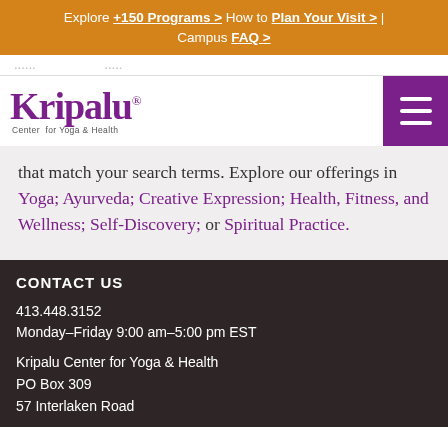Explore +150 Programs > How to Plan Your Visit > | Campus FAQ >
[Figure (logo): Kripalu Center for Yoga & Health logo with purple wordmark and hamburger menu icon]
that match your search terms. Explore our offerings in Yoga; Ayurveda; Creative Expression; Health, Fitness, and Wellness; Self-Discovery; or Spiritual Practice.
CONTACT US
413.448.3152
Monday–Friday 9:00 am–5:00 pm EST
Kripalu Center for Yoga & Health
PO Box 309
57 Interlaken Road